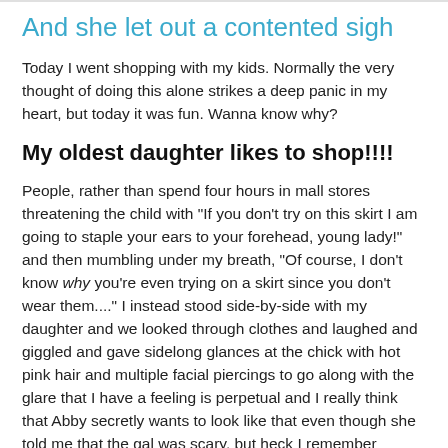And she let out a contented sigh
Today I went shopping with my kids. Normally the very thought of doing this alone strikes a deep panic in my heart, but today it was fun. Wanna know why?
My oldest daughter likes to shop!!!!
People, rather than spend four hours in mall stores threatening the child with "If you don't try on this skirt I am going to staple your ears to your forehead, young lady!" and then mumbling under my breath, "Of course, I don't know why you're even trying on a skirt since you don't wear them...." I instead stood side-by-side with my daughter and we looked through clothes and laughed and giggled and gave sidelong glances at the chick with hot pink hair and multiple facial piercings to go along with the glare that I have a feeling is perpetual and I really think that Abby secretly wants to look like that even though she told me that the gal was scary, but heck I remember wanting pink hair when I